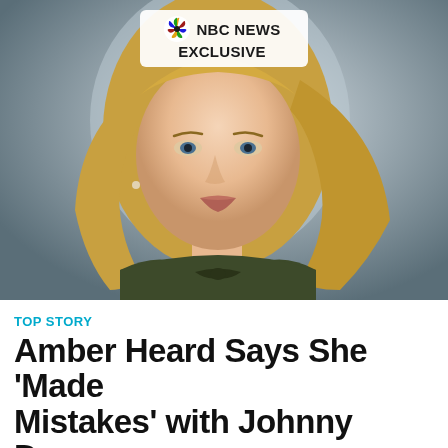[Figure (photo): NBC News Exclusive badge overlaid on a photo of Amber Heard, a blonde woman wearing a dark olive/green top with a bow, looking slightly to the left against a blurred grey/blue background. The NBC peacock logo and 'NBC NEWS EXCLUSIVE' text appear in the top center of the image.]
TOP STORY
Amber Heard Says She 'Made Mistakes' with Johnny Depp, Always Told the Truth'